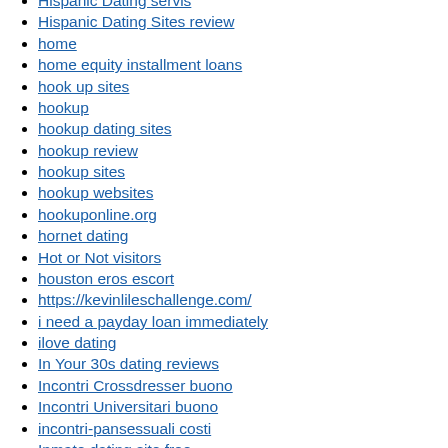Hispanic Dating servis
Hispanic Dating Sites review
home
home equity installment loans
hook up sites
hookup
hookup dating sites
hookup review
hookup sites
hookup websites
hookuponline.org
hornet dating
Hot or Not visitors
houston eros escort
https://kevinlileschallenge.com/
i need a payday loan immediately
ilove dating
In Your 30s dating reviews
Incontri Crossdresser buono
Incontri Universitari buono
incontri-pansessuali costi
Inmate dating site free
Inmate sites for free
instabang review
installment loans direct lender